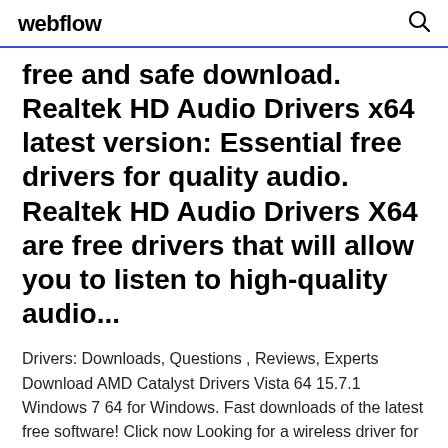webflow
free and safe download. Realtek HD Audio Drivers x64 latest version: Essential free drivers for quality audio. Realtek HD Audio Drivers X64 are free drivers that will allow you to listen to high-quality audio...
Drivers: Downloads, Questions , Reviews, Experts Download AMD Catalyst Drivers Vista 64 15.7.1 Windows 7 64 for Windows. Fast downloads of the latest free software! Click now Looking for a wireless driver for your network then check this website for more